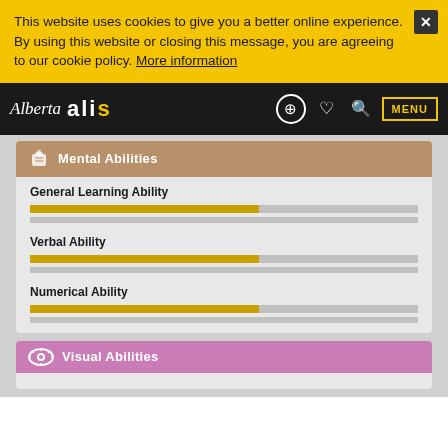This website uses cookies to give you a better online experience. By using this website or closing this message, you are agreeing to our cookie policy. More information
Alberta alis — MENU
Mental Abilities
General Learning Ability
Verbal Ability
Numerical Ability
Visual Abilities